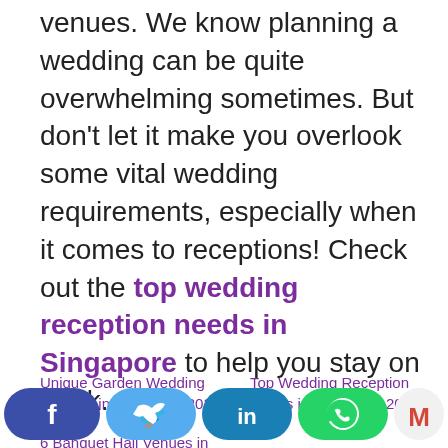venues. We know planning a wedding can be quite overwhelming sometimes. But don't let it make you overlook some vital wedding requirements, especially when it comes to receptions! Check out the top wedding reception needs in Singapore to help you stay on track.
Unique Garden Wedding Themes in Singapore 2022
Top Wedding Reception Needs in Singapore 2022
6 Banquet Hall Venues in Singapore for Big, Classy Events